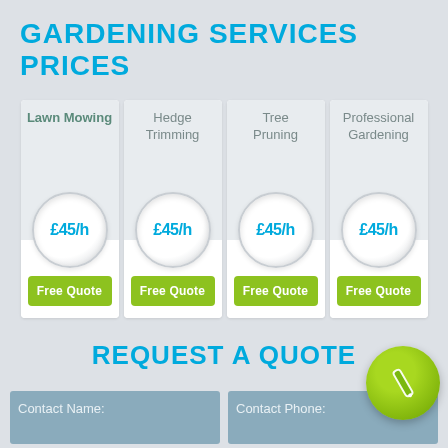GARDENING SERVICES PRICES
| Lawn Mowing | Hedge Trimming | Tree Pruning | Professional Gardening |
| --- | --- | --- | --- |
| £45/h | £45/h | £45/h | £45/h |
| Free Quote | Free Quote | Free Quote | Free Quote |
REQUEST A QUOTE
Contact Name:
Contact Phone: